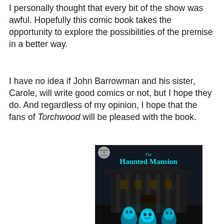I personally thought that every bit of the show was awful. Hopefully this comic book takes the opportunity to explore the possibilities of the premise in a better way.
I have no idea if John Barrowman and his sister, Carole, will write good comics or not, but I hope they do. And regardless of my opinion, I hope that the fans of Torchwood will be pleased with the book.
[Figure (illustration): Book cover for 'The Haunted Mansion HC with CD' showing the Haunted Mansion building with glowing blue ghost figures in front against a dark background.]
DISNEY PARKS PRESENTS: THE HAUNTED MANSION HC WITH CD
The song "Grim Grinning Ghosts," composed in the late 1960s, continues to reside in the dark corridors and spooky cemetery of the Haunted Mansion. Millions of guests leave the mansion with not only a hitchhiking ghost but also this jaunty tune catching a ride all the way home. In this